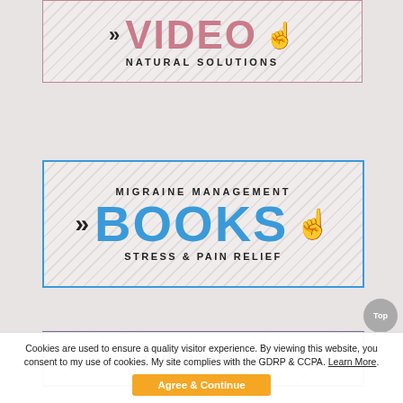[Figure (infographic): Banner with diagonal stripe background, arrows, large pink 'VIDEO' text, click hand icon, subtitle 'NATURAL SOLUTIONS']
[Figure (infographic): Banner with diagonal stripe background, 'MIGRAINE MANAGEMENT' header, arrows, large blue 'BOOKS' text, click hand icon, subtitle 'STRESS & PAIN RELIEF']
[Figure (infographic): Partial banner with diagonal stripe background, 'MIGRAINE RELIEF' text, purple border]
Cookies are used to ensure a quality visitor experience. By viewing this website, you consent to my use of cookies. My site complies with the GDRP & CCPA. Learn More.
Agree & Continue